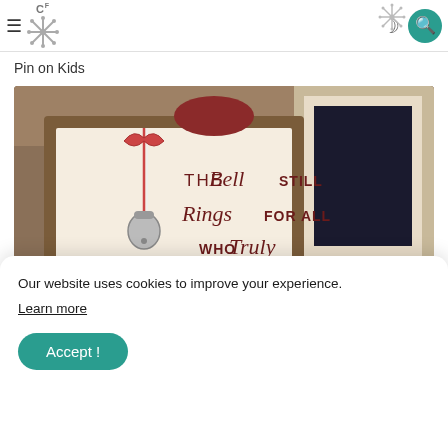CF [logo with snowflake]
Pin on Kids
[Figure (photo): A framed wooden sign with text reading 'THE Bell STILL Rings FOR ALL WHO Truly' with a jingle bell hanging from a red and white striped ribbon, placed near a fireplace mantle decorated for Christmas.]
Our website uses cookies to improve your experience.
Learn more
Accept !